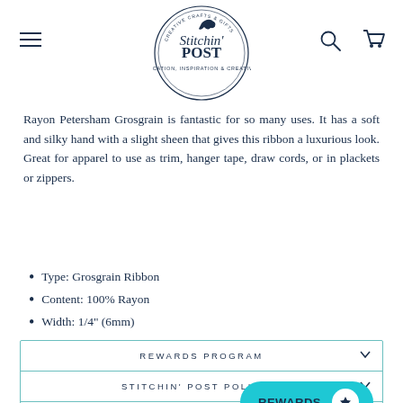Stitchin' POST
Rayon Petersham Grosgrain is fantastic for so many uses. It has a soft and silky hand with a slight sheen that gives this ribbon a luxurious look. Great for apparel to use as trim, hanger tape, draw cords, or in plackets or zippers.
Type: Grosgrain Ribbon
Content: 100% Rayon
Width: 1/4" (6mm)
REWARDS PROGRAM
STITCHIN' POST POLICIES
ASK A QUESTION